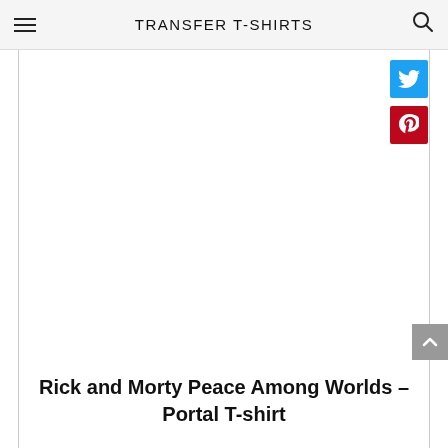TRANSFER T-SHIRTS
[Figure (screenshot): Twitter and Pinterest social share buttons on the right side of the page]
Rick and Morty Peace Among Worlds – Portal T-shirt